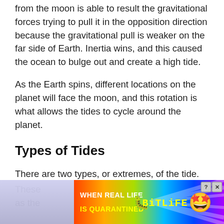from the moon is able to result the gravitational forces trying to pull it in the opposition direction because the gravitational pull is weaker on the far side of Earth. Inertia wins, and this caused the ocean to bulge out and create a high tide.
As the Earth spins, different locations on the planet will face the moon, and this rotation is what allows the tides to cycle around the planet.
Types of Tides
There are two types, or extremes, of the tide.
These [faded] ...known as the [faded] ...se.
[Figure (other): BitLife advertisement banner with rainbow gradient background, showing 'WHEN REAL LIFE IS QUARANTINED' text, a sperm emoji, BitLife logo in yellow, and a star-eyes emoji with mask, with close and help buttons]